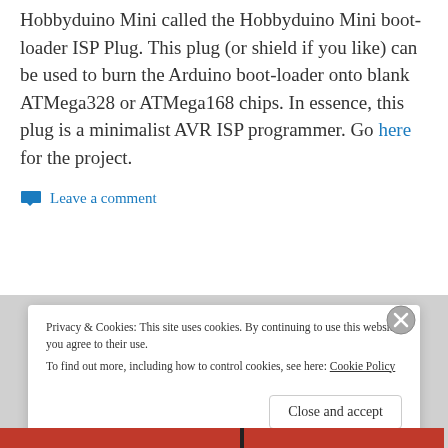Hobbyduino Mini called the Hobbyduino Mini boot-loader ISP Plug.  This plug (or shield if you like) can be used to burn the Arduino boot-loader onto blank ATMega328 or ATMega168 chips.  In essence, this plug is a minimalist AVR ISP programmer.  Go here for the project.
Leave a comment
Privacy & Cookies: This site uses cookies. By continuing to use this website, you agree to their use.
To find out more, including how to control cookies, see here: Cookie Policy